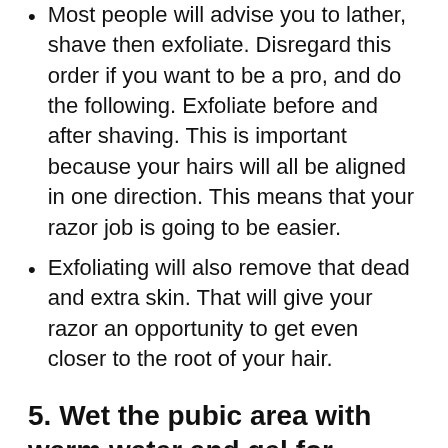Most people will advise you to lather, shave then exfoliate. Disregard this order if you want to be a pro, and do the following. Exfoliate before and after shaving. This is important because your hairs will all be aligned in one direction. This means that your razor job is going to be easier.
Exfoliating will also remove that dead and extra skin. That will give your razor an opportunity to get even closer to the root of your hair.
5. Wet the pubic area with warm water and gel for shaving over it